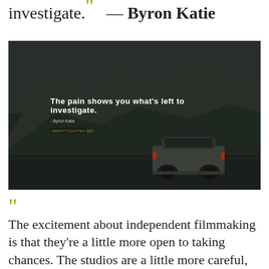investigate.” — Byron Katie
[Figure (photo): Dark atmospheric photo of an SUV on a road with mountains in background, overlaid with quote text: 'The pain shows you what's left to investigate.' - Byron Katie, with a website watermark]
“The excitement about independent filmmaking is that they’re a little more open to taking chances. The studios are a little more careful, as far as who they choose for their film and what they’re known for and staying in the